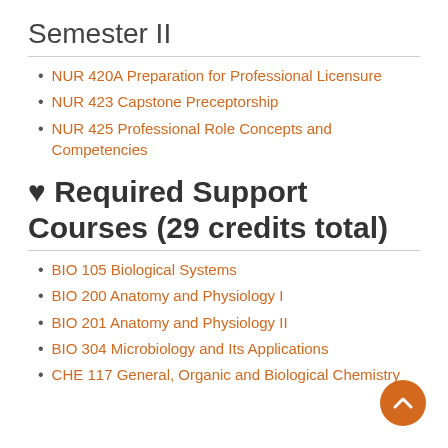Semester II
NUR 420A Preparation for Professional Licensure
NUR 423 Capstone Preceptorship
NUR 425 Professional Role Concepts and Competencies
♥ Required Support Courses (29 credits total)
BIO 105 Biological Systems
BIO 200 Anatomy and Physiology I
BIO 201 Anatomy and Physiology II
BIO 304 Microbiology and Its Applications
CHE 117 General, Organic and Biological Chemistry